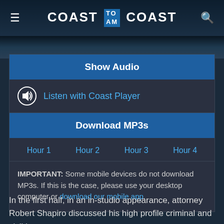COAST TO COAST AM
Show Audio
Listen with Coast Player
Download MP3s
Hour 1
Hour 2
Hour 3
Hour 4
IMPORTANT: Some mobile devices do not download MP3s. If this is the case, please use your desktop computer or download our mobile app.
In the first half, in an in-studio appearance, attorney Robert Shapiro discussed his high profile criminal and civil law